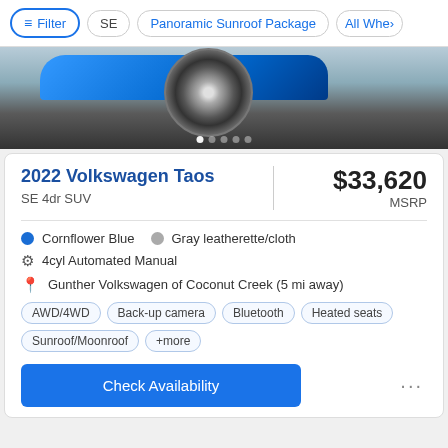Filter | SE | Panoramic Sunroof Package | All Whe>
[Figure (photo): Close-up of a blue Volkswagen Taos wheel and side panel on a gray surface, with carousel navigation dots.]
2022 Volkswagen Taos
SE 4dr SUV
$33,620 MSRP
Cornflower Blue   Gray leatherette/cloth
4cyl Automated Manual
Gunther Volkswagen of Coconut Creek (5 mi away)
AWD/4WD  Back-up camera  Bluetooth  Heated seats  Sunroof/Moonroof  +more
Check Availability